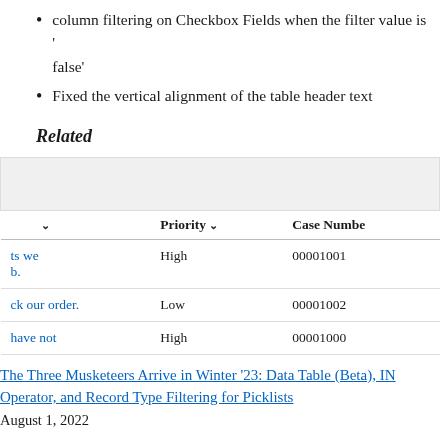column filtering on Checkbox Fields when the filter value is 'false'
Fixed the vertical alignment of the table header text
Related
|  | Priority | Case Number |
| --- | --- | --- |
| ts we b. | High | 00001001 |
| ck our order. | Low | 00001002 |
| have not | High | 00001000 |
The Three Musketeers Arrive in Winter '23: Data Table (Beta), IN Operator, and Record Type Filtering for Picklists
August 1, 2022